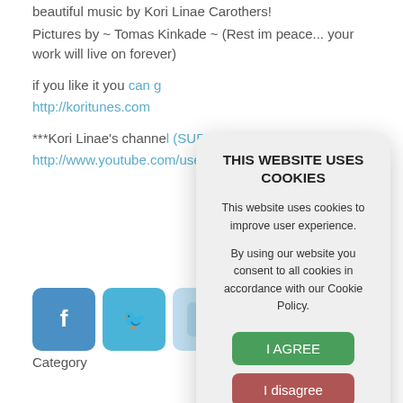beautiful music by Kori Linae Carothers!
Pictures by ~ Tomas Kinkade ~ (Rest im peace... your work will live on forever)
if you like it you can get it at http://koritunes.com
***Kori Linae's channel (SUBSCRIBE TO HER!) http://www.youtube.com/user/KoriLinae
[Figure (screenshot): Facebook, Twitter, and Tumblr social media share icons]
Category
[Figure (infographic): Cookie consent modal dialog with title THIS WEBSITE USES COOKIES, body text about cookie policy, and three buttons: I AGREE (green), I disagree (red), Read more (gray)]
SUPPORT SOLOPIANO.TV ON Ko-fi!
[Figure (screenshot): Facebook, Twitter, and share social media icons at bottom of page]